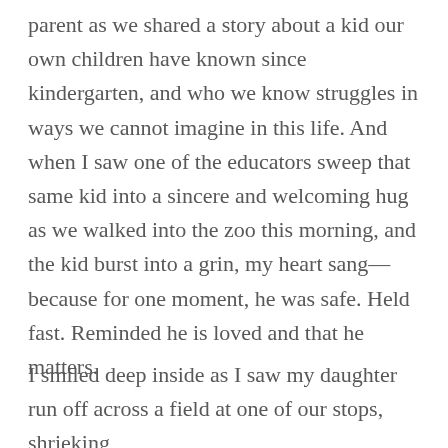parent as we shared a story about a kid our own children have known since kindergarten, and who we know struggles in ways we cannot imagine in this life. And when I saw one of the educators sweep that same kid into a sincere and welcoming hug as we walked into the zoo this morning, and the kid burst into a grin, my heart sang—because for one moment, he was safe. Held fast. Reminded he is loved and that he matters.
I smiled deep inside as I saw my daughter run off across a field at one of our stops, shrieking